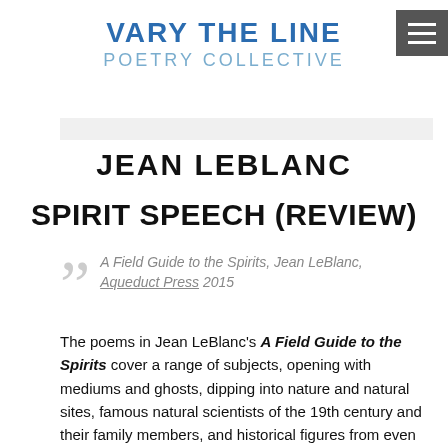VARY THE LINE
POETRY COLLECTIVE
JEAN LEBLANC
SPIRIT SPEECH (REVIEW)
A Field Guide to the Spirits, Jean LeBlanc, Aqueduct Press 2015
The poems in Jean LeBlanc's A Field Guide to the Spirits cover a range of subjects, opening with mediums and ghosts, dipping into nature and natural sites, famous natural scientists of the 19th century and their family members, and historical figures from even